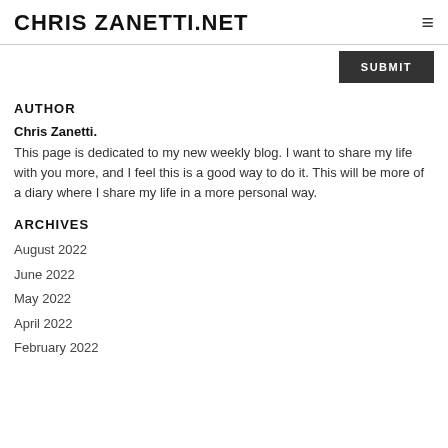CHRIS ZANETTI.NET
AUTHOR
Chris Zanetti.
This page is dedicated to my new weekly blog. I want to share my life with you more, and I feel this is a good way to do it. This will be more of a diary where I share my life in a more personal way.
ARCHIVES
August 2022
June 2022
May 2022
April 2022
February 2022